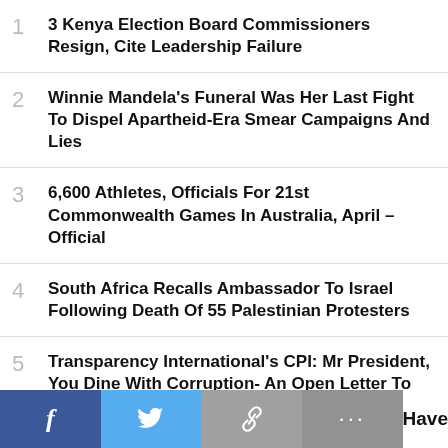3 Kenya Election Board Commissioners Resign, Cite Leadership Failure
Winnie Mandela's Funeral Was Her Last Fight To Dispel Apartheid-Era Smear Campaigns And Lies
6,600 Athletes, Officials For 21st Commonwealth Games In Australia, April - Official
South Africa Recalls Ambassador To Israel Following Death Of 55 Palestinian Protesters
Transparency International's CPI: Mr President, You Dine With Corruption- An Open Letter To President Buhari
[Figure (infographic): Social media share bar with Facebook, Twitter, link, and more buttons, plus 'Have' text on the right]